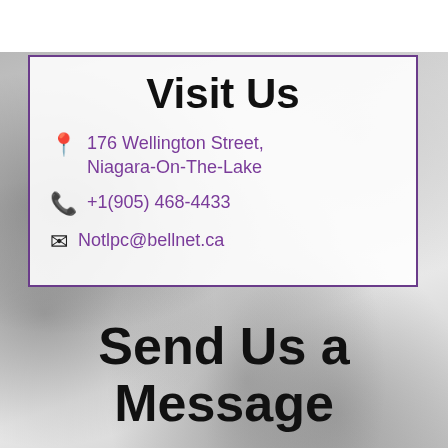Visit Us
176 Wellington Street, Niagara-On-The-Lake
+1(905) 468-4433
Notlpc@bellnet.ca
Send Us a Message